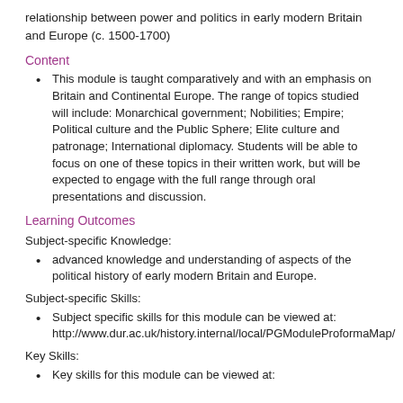relationship between power and politics in early modern Britain and Europe (c. 1500-1700)
Content
This module is taught comparatively and with an emphasis on Britain and Continental Europe. The range of topics studied will include: Monarchical government; Nobilities; Empire; Political culture and the Public Sphere; Elite culture and patronage; International diplomacy. Students will be able to focus on one of these topics in their written work, but will be expected to engage with the full range through oral presentations and discussion.
Learning Outcomes
Subject-specific Knowledge:
advanced knowledge and understanding of aspects of the political history of early modern Britain and Europe.
Subject-specific Skills:
Subject specific skills for this module can be viewed at: http://www.dur.ac.uk/history.internal/local/PGModuleProformaMap/
Key Skills:
Key skills for this module can be viewed at: